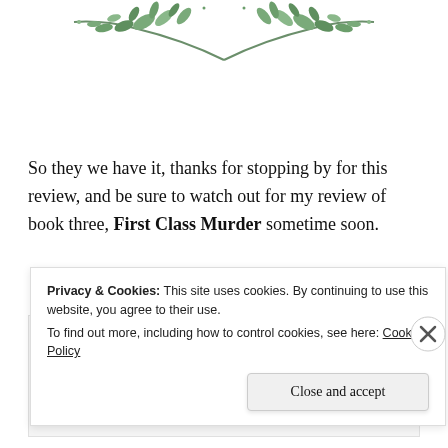[Figure (illustration): Decorative botanical/floral watercolor vine illustration at top center of page with green leaves on branches.]
So they we have it, thanks for stopping by for this review, and be sure to watch out for my review of book three, First Class Murder sometime soon.
[Figure (illustration): Blog author signature/logo on light gray background with pink watercolor splash and decorative cursive script text.]
Privacy & Cookies: This site uses cookies. By continuing to use this website, you agree to their use.
To find out more, including how to control cookies, see here: Cookie Policy
Close and accept